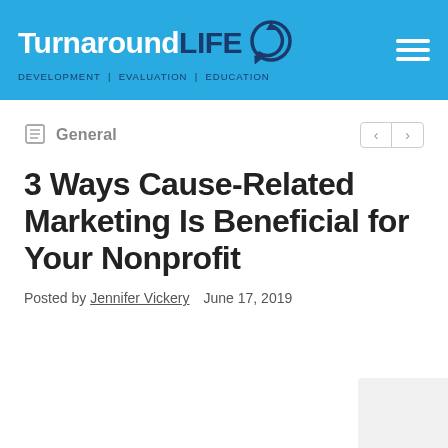Turnaround LIFE | DEVELOPMENT | EVALUATION | EDUCATION
General
3 Ways Cause-Related Marketing Is Beneficial for Your Nonprofit
Posted by Jennifer Vickery   June 17, 2019